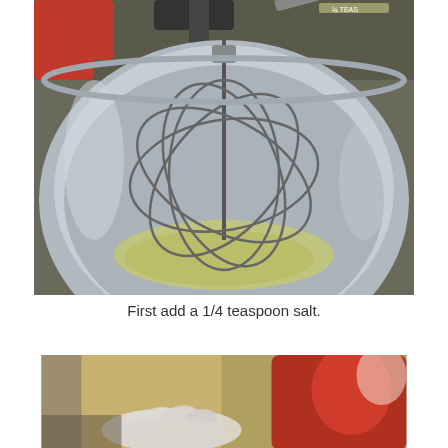[Figure (photo): Close-up photo of a KitchenAid stand mixer bowl with a wire whisk attachment. The stainless steel bowl contains egg whites (slightly greenish tint). A small amount of white salt is visible being added from a measuring spoon labeled '1/4 TEAS'. The mixer body is red.]
First add a 1/4 teaspoon salt.
[Figure (photo): Close-up photo showing a hand (blurred, wearing white) near a red KitchenAid stand mixer. The background is blurred with warm tones. The image appears to show someone working with the mixer.]